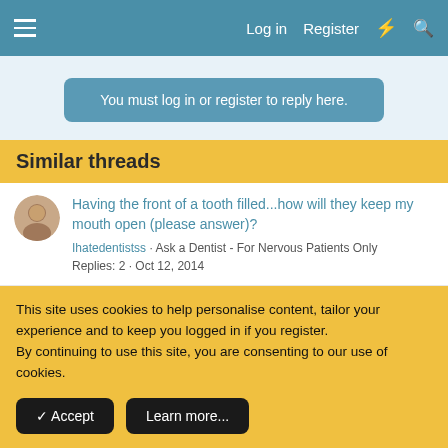Log in  Register
You must log in or register to reply here.
Similar threads
Having the front of a tooth filled...how will they keep my mouth open (please answer)?
ihatedentistss · Ask a Dentist - For Nervous Patients Only
Replies: 2 · Oct 12, 2014
Root Canal - what is used to keep the mouth
This site uses cookies to help personalise content, tailor your experience and to keep you logged in if you register.
By continuing to use this site, you are consenting to our use of cookies.